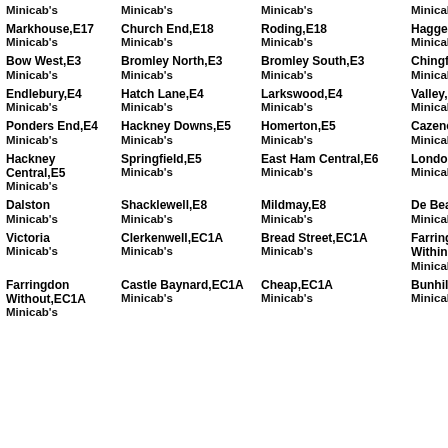| Minicab's (partial) | Minicab's | Minicab's (partial) | Minicab's (partial) |
| Markhouse,E17 Minicab's | Church End,E18 Minicab's | Roding,E18 Minicab's | Haggerston,E2 Minicab's |
| Bow West,E3 Minicab's | Bromley North,E3 Minicab's | Bromley South,E3 Minicab's | Chingford Green,E4 Minicab's |
| Endlebury,E4 Minicab's | Hatch Lane,E4 Minicab's | Larkswood,E4 Minicab's | Valley,E4 Minicab's |
| Ponders End,E4 Minicab's | Hackney Downs,E5 Minicab's | Homerton,E5 Minicab's | Cazenove,E5 Minicab's |
| Hackney Central,E5 Minicab's | Springfield,E5 Minicab's | East Ham Central,E6 Minicab's | London Fields,E8 Minicab's |
| Dalston Minicab's | Shacklewell,E8 Minicab's | Mildmay,E8 Minicab's | De Beauvoir,E8 Minicab's |
| Victoria Minicab's | Clerkenwell,EC1A Minicab's | Bread Street,EC1A Minicab's | Farringdon Within,EC1A Minicab's |
| Farringdon Without,EC1A Minicab's | Castle Baynard,EC1A Minicab's | Cheap,EC1A Minicab's | Bunhill,EC1A Minicab's |